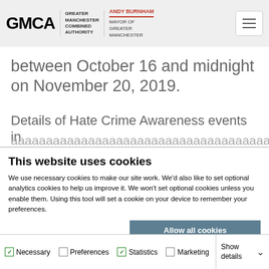GMCA Greater Manchester Combined Authority | Andy Burnham Mayor of Greater Manchester
between October 16 and midnight on November 20, 2019.
Details of Hate Crime Awareness events in
This website uses cookies
We use necessary cookies to make our site work. We'd also like to set optional analytics cookies to help us improve it. We won't set optional cookies unless you enable them. Using this tool will set a cookie on your device to remember your preferences.
Allow all cookies | Allow selection | Use necessary cookies only
Necessary | Preferences | Statistics | Marketing | Show details